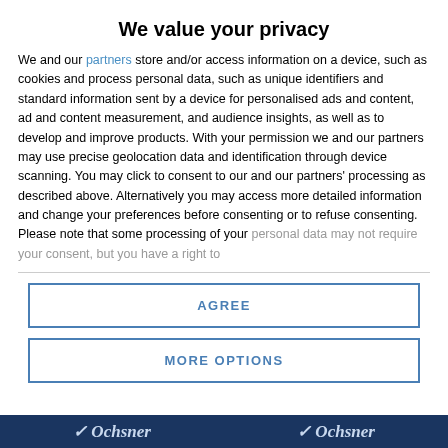We value your privacy
We and our partners store and/or access information on a device, such as cookies and process personal data, such as unique identifiers and standard information sent by a device for personalised ads and content, ad and content measurement, and audience insights, as well as to develop and improve products. With your permission we and our partners may use precise geolocation data and identification through device scanning. You may click to consent to our and our partners' processing as described above. Alternatively you may access more detailed information and change your preferences before consenting or to refuse consenting. Please note that some processing of your personal data may not require your consent, but you have a right to
AGREE
MORE OPTIONS
Ochsner  Ochsner